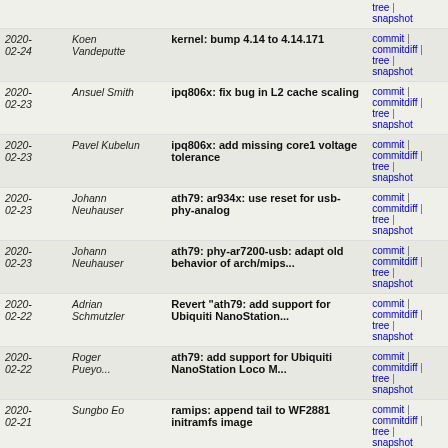| Date | Author | Message | Links |
| --- | --- | --- | --- |
|  |  |  | tree | snapshot |
| 2020-02-24 | Koen Vandeputte | kernel: bump 4.14 to 4.14.171 | commit | commitdiff | tree | snapshot |
| 2020-02-23 | Ansuel Smith | ipq806x: fix bug in L2 cache scaling | commit | commitdiff | tree | snapshot |
| 2020-02-23 | Pavel Kubelun | ipq806x: add missing core1 voltage tolerance | commit | commitdiff | tree | snapshot |
| 2020-02-23 | Johann Neuhauser | ath79: ar934x: use reset for usb-phy-analog | commit | commitdiff | tree | snapshot |
| 2020-02-23 | Johann Neuhauser | ath79: phy-ar7200-usb: adapt old behavior of arch/mips... | commit | commitdiff | tree | snapshot |
| 2020-02-22 | Adrian Schmutzler | Revert "ath79: add support for Ubiquiti NanoStation... | commit | commitdiff | tree | snapshot |
| 2020-02-22 | Roger Pueyo... | ath79: add support for Ubiquiti NanoStation Loco M... | commit | commitdiff | tree | snapshot |
| 2020-02-21 | Sungbo Eo | ramips: append tail to WF2881 initramfs image | commit | commitdiff | tree | snapshot |
| 2020-02-21 | Adrian Schmutzler | ath79: add support for Ubiquiti Picostation M (XM) | commit | commitdiff | tree | snapshot |
| 2020-02-21 | Sven Roederer | ath79: add support for Ubiquiti Nanostation Loco M... | commit | commitdiff | tree | snapshot |